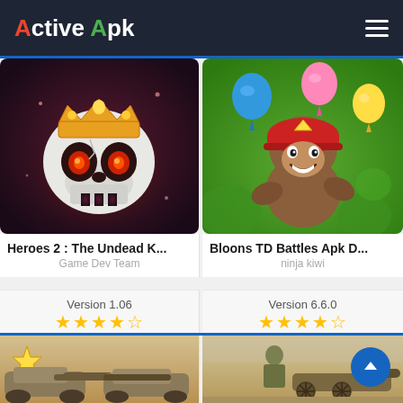Active Apk
[Figure (screenshot): Heroes 2: The Undead King app icon – skull with glowing red eyes and gold crown on dark purple background]
Heroes 2 : The Undead K...
Game Dev Team
Version 1.06
★★★★☆
[Figure (screenshot): Bloons TD Battles app icon – cartoon monkey character in red helmet with colorful balloons on green background]
Bloons TD Battles Apk D...
ninja kiwi
Version 6.6.0
★★★★☆
[Figure (screenshot): Tank game app icon – military tanks with stars on sandy background]
[Figure (screenshot): War game screenshot – soldier operating artillery cannon in desert setting]